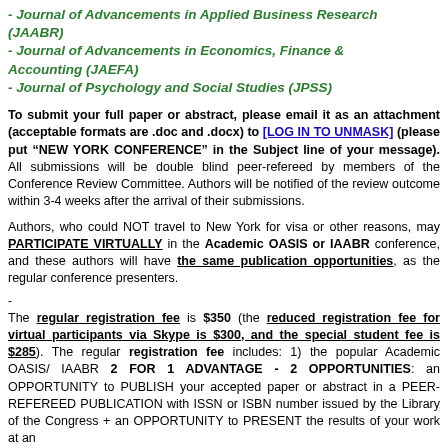- Journal of Advancements in Applied Business Research (JAABR)
- Journal of Advancements in Economics, Finance & Accounting (JAEFA)
- Journal of Psychology and Social Studies (JPSS)
To submit your full paper or abstract, please email it as an attachment (acceptable formats are .doc and .docx) to [LOG IN TO UNMASK] (please put “NEW YORK CONFERENCE” in the Subject line of your message). All submissions will be double blind peer-refereed by members of the Conference Review Committee. Authors will be notified of the review outcome within 3-4 weeks after the arrival of their submissions.
Authors, who could NOT travel to New York for visa or other reasons, may PARTICIPATE VIRTUALLY in the Academic OASIS or IAABR conference, and these authors will have the same publication opportunities, as the regular conference presenters.
The regular registration fee is $350 (the reduced registration fee for virtual participants via Skype is $300, and the special student fee is $285). The regular registration fee includes: 1) the popular Academic OASIS/ IAABR 2 FOR 1 ADVANTAGE - 2 OPPORTUNITIES: an OPPORTUNITY to PUBLISH your accepted paper or abstract in a PEER-REFEREED PUBLICATION with ISSN or ISBN number issued by the Library of the Congress + an OPPORTUNITY to PRESENT the results of your work at an